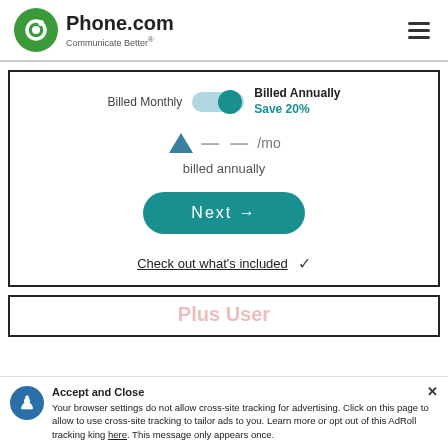[Figure (logo): Phone.com logo with green circle icon, text 'Phone.com' and tagline 'Communicate Better®']
Billed Monthly
Billed Annually
Save 20%
billed annually
Next →
Check out what's included
Plus User
Accept and Close ✕
Your browser settings do not allow cross-site tracking for advertising. Click on this page to allow to use cross-site tracking to tailor ads to you. Learn more or opt out of this AdRoll tracking king here. This message only appears once.